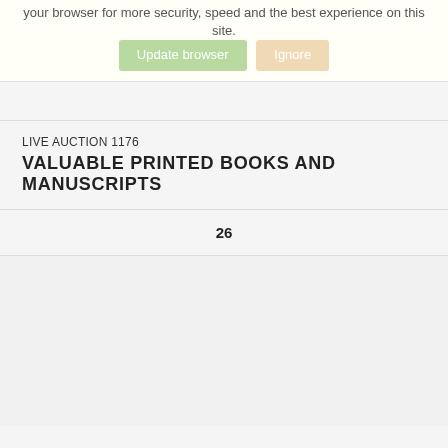your browser for more security, speed and the best experience on this site.
Update browser   Ignore
LIVE AUCTION 1176
VALUABLE PRINTED BOOKS AND MANUSCRIPTS
26